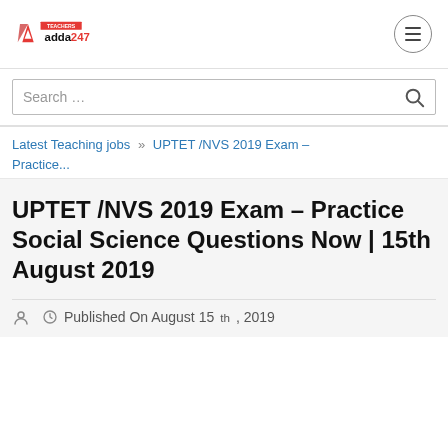Teachers adda247 logo and navigation menu
Search …
Latest Teaching jobs » UPTET /NVS 2019 Exam – Practice...
UPTET /NVS 2019 Exam – Practice Social Science Questions Now | 15th August 2019
Published On August 15th, 2019